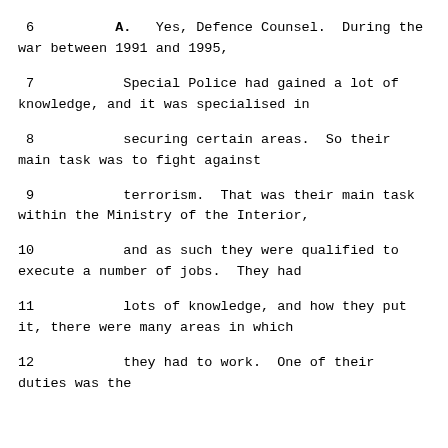6      A.   Yes, Defence Counsel.  During the war between 1991 and 1995,
7      Special Police had gained a lot of knowledge, and it was specialised in
8      securing certain areas.  So their main task was to fight against
9      terrorism.  That was their main task within the Ministry of the Interior,
10     and as such they were qualified to execute a number of jobs.  They had
11     lots of knowledge, and how they put it, there were many areas in which
12     they had to work.  One of their duties was the